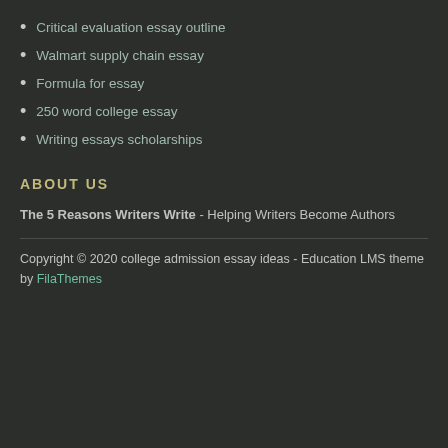Critical evaluation essay outline
Walmart supply chain essay
Formula for essay
250 word college essay
Writing essays scholarships
ABOUT US
The 5 Reasons Writers Write - Helping Writers Become Authors
Copyright © 2020 college admission essay ideas - Education LMS theme by FilaThemes